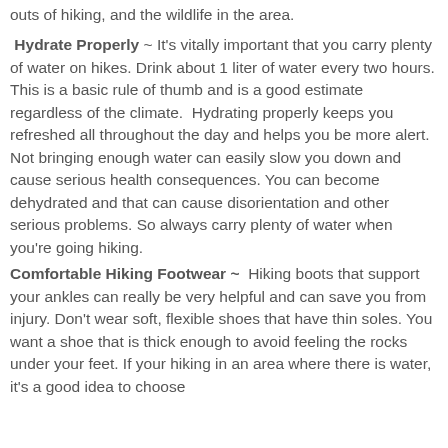outs of hiking, and the wildlife in the area.
Hydrate Properly ~ It's vitally important that you carry plenty of water on hikes. Drink about 1 liter of water every two hours. This is a basic rule of thumb and is a good estimate regardless of the climate.  Hydrating properly keeps you refreshed all throughout the day and helps you be more alert. Not bringing enough water can easily slow you down and cause serious health consequences. You can become dehydrated and that can cause disorientation and other serious problems. So always carry plenty of water when you're going hiking.
Comfortable Hiking Footwear ~ Hiking boots that support your ankles can really be very helpful and can save you from injury. Don't wear soft, flexible shoes that have thin soles. You want a shoe that is thick enough to avoid feeling the rocks under your feet. If your hiking in an area where there is water, it's a good idea to choose